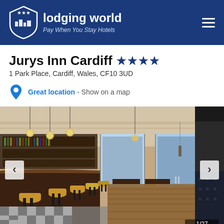lodging world - Pay When You Stay Hotels
Jurys Inn Cardiff ★★★★
1 Park Place, Cardiff, Wales, CF10 3UD
Great location - Show on a map
[Figure (photo): Interior photo of Jurys Inn Cardiff bar and restaurant area with bar stools, hanging pendant lights, checkered floor, and dining tables. Image counter shows 1/27.]